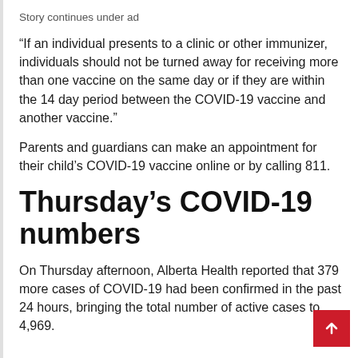Story continues under ad
“If an individual presents to a clinic or other immunizer, individuals should not be turned away for receiving more than one vaccine on the same day or if they are within the 14 day period between the COVID-19 vaccine and another vaccine.”
Parents and guardians can make an appointment for their child’s COVID-19 vaccine online or by calling 811.
Thursday’s COVID-19 numbers
On Thursday afternoon, Alberta Health reported that 379 more cases of COVID-19 had been confirmed in the past 24 hours, bringing the total number of active cases to 4,969.